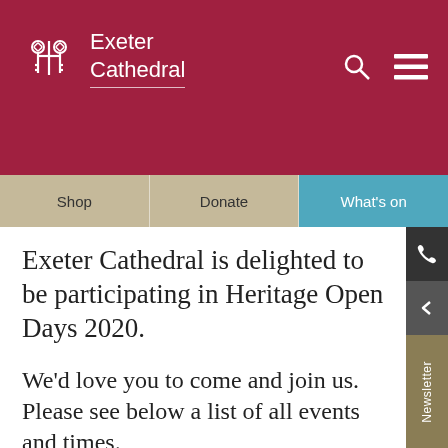Exeter Cathedral
Shop   Donate   What's on
Exeter Cathedral is delighted to be participating in Heritage Open Days 2020.
We'd love you to come and join us. Please see below a list of all events and times.
Advance booking essential – tickets will go live on Monday 24th August at 09.00.